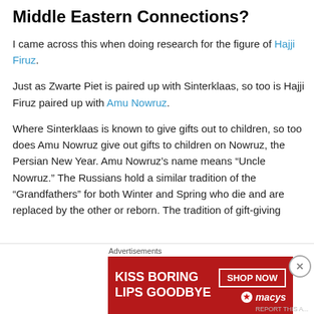Middle Eastern Connections?
I came across this when doing research for the figure of Hajji Firuz.
Just as Zwarte Piet is paired up with Sinterklaas, so too is Hajji Firuz paired up with Amu Nowruz.
Where Sinterklaas is known to give gifts out to children, so too does Amu Nowruz give out gifts to children on Nowruz, the Persian New Year. Amu Nowruz’s name means “Uncle Nowruz.” The Russians hold a similar tradition of the “Grandfathers” for both Winter and Spring who die and are replaced by the other or reborn. The tradition of gift-giving
Advertisements
[Figure (photo): Macy's advertisement banner: 'KISS BORING LIPS GOODBYE' with SHOP NOW button and Macy's logo on red background with woman's face]